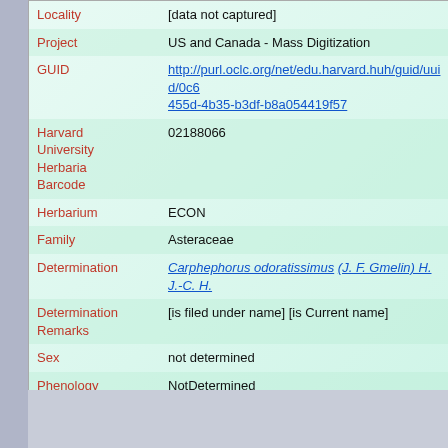| Field | Value |
| --- | --- |
| Locality | [data not captured] |
| Project | US and Canada - Mass Digitization |
| GUID | http://purl.oclc.org/net/edu.harvard.huh/guid/uuid/0c6455d-4b35-b3df-b8a054419f57 |
| Harvard University Herbaria Barcode | 02188066 |
| Herbarium | ECON |
| Family | Asteraceae |
| Determination | Carphephorus odoratissimus (J. F. Gmelin) H. J.-C. H. |
| Determination Remarks | [is filed under name] [is Current name] |
| Sex | not determined |
| Phenology | NotDetermined |
| Preparation Type | Sheet |
| Preparation Method | Pressed |